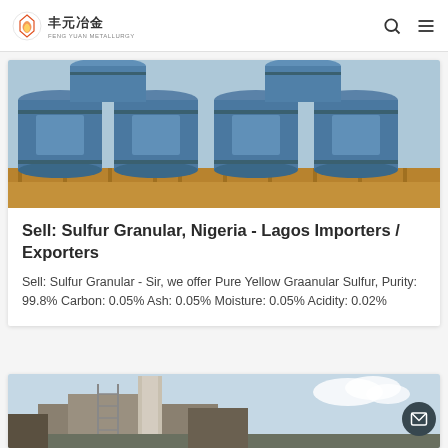丰元冶金
[Figure (photo): Blue industrial barrels/drums stacked on wooden pallets]
Sell: Sulfur Granular, Nigeria - Lagos Importers / Exporters
Sell: Sulfur Granular - Sir, we offer Pure Yellow Graanular Sulfur, Purity: 99.8% Carbon: 0.05% Ash: 0.05% Moisture: 0.05% Acidity: 0.02%
[Figure (photo): Industrial facility with chimney/smokestack and scaffolding]